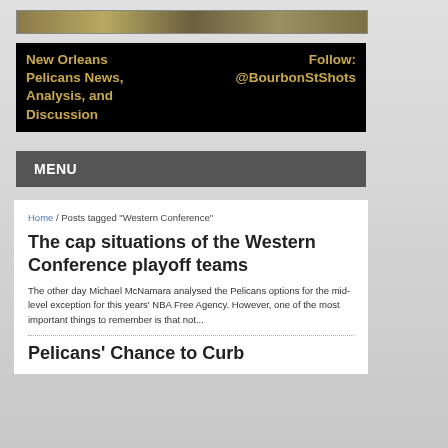[Figure (photo): Header image banner of a scene, partially visible]
New Orleans Pelicans News, Analysis, and Discussion
Follow: @BourbonStShots
MENU
Home / Posts tagged "Western Conference"
The cap situations of the Western Conference playoff teams
The other day Michael McNamara analysed the Pelicans options for the mid-level exception for this years' NBA Free Agency. However, one of the most important things to remember is that not...
Pelicans' Chance to Curb